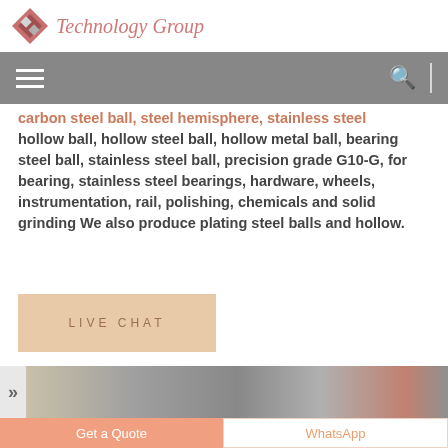Technology Group
carbon steel ball, steel hemisphere, stainless steel hollow ball, hollow steel ball, hollow metal ball, bearing steel ball, stainless steel ball, precision grade G10-G, for bearing, stainless steel bearings, hardware, wheels, instrumentation, rail, polishing, chemicals and solid grinding We also produce plating steel balls and hollow.
LIVE CHAT
[Figure (photo): Industrial/factory scene photo strip at bottom of page]
Get a Quote
WhatsApp